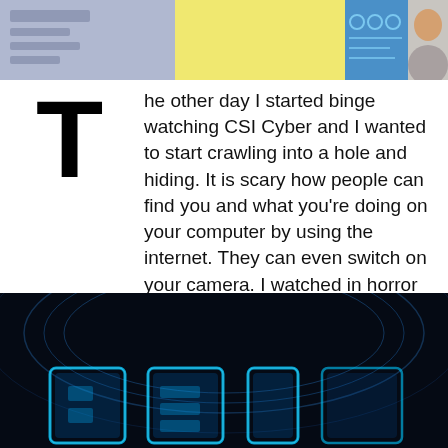[Figure (photo): Collage of images at the top of the page showing various digital/cyber themed images including a yellow rectangle and blue interface]
The other day I started binge watching CSI Cyber and I wanted to start crawling into a hole and hiding. It is scary how people can find you and what you're doing on your computer by using the internet. They can even switch on your camera. I watched in horror as Avery and the rest of the CSI Cyber team dove deeper into the internet and dark web and was able to find anyone.
[Figure (photo): CSI Cyber logo with glowing blue neon letters on a dark background with circular light streaks]